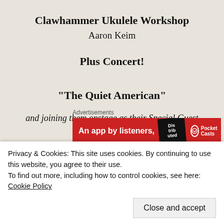Clawhammer Ukulele Workshop
Aaron Keim
Plus Concert!
[Figure (screenshot): Red advertisement banner with text 'An app by listeners,' and a podcast app badge. Pocket Casts logo visible on right.]
“The Quiet American”
and joining them onstage as their Special Guest
Privacy & Cookies: This site uses cookies. By continuing to use this website, you agree to their use.
To find out more, including how to control cookies, see here:
Cookie Policy
Close and accept
The Cumberland Arms